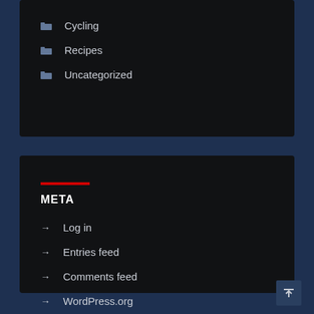Cycling
Recipes
Uncategorized
META
Log in
Entries feed
Comments feed
WordPress.org